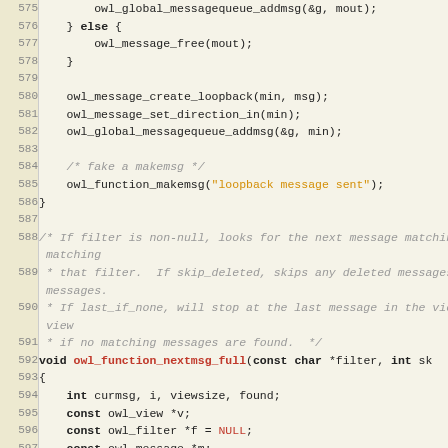[Figure (screenshot): Source code listing in a monospace editor showing C code, lines 575-604, with syntax highlighting. Line numbers in left column, code in right column on a light beige background.]